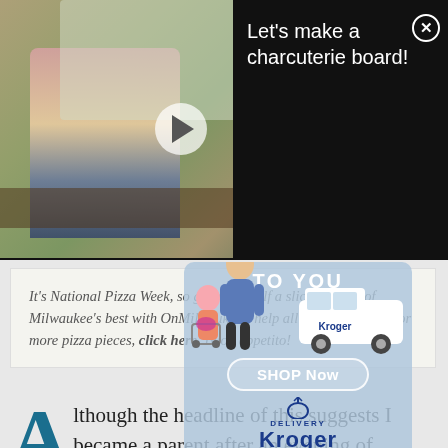[Figure (photo): Woman in apron making a charcuterie board at a kitchen table, video thumbnail with play button]
Let's make a charcuterie board!
It's National Pizza Week, so grab yourself a slice of some of Milwaukee's best with OnMilwaukee's help all week long. And for more pizza pieces, click here. Buon appetito!
[Figure (infographic): Kroger Delivery advertisement overlay with animated characters, van, TO YOU text, SHOP Now button, Kroger logo, and Pick n Save market branding]
Although the headline of this suggests I became a parent after an evening of consuming way too much wine at Pizza Man and had an spontaneous fling as a result, but that, alas, is not